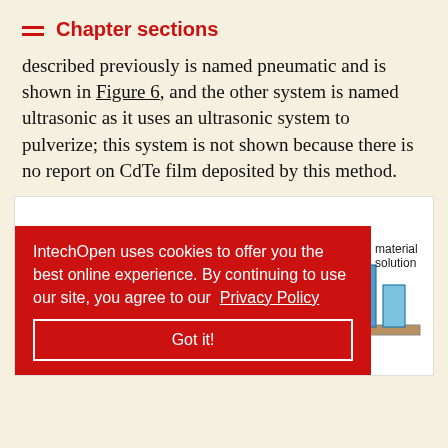Chapter sections
described previously is named pneumatic and is shown in Figure 6, and the other system is named ultrasonic as it uses an ultrasonic system to pulverize; this system is not shown because there is no report on CdTe film deposited by this method.
[Figure (engineering-diagram): Pneumatic spray pyrolysis system diagram showing a Compressor connected via pipes to a flow controller (orange circle) and material solution containers (blue cylinders on brown base), with spray nozzle lines at the bottom.]
IntechOpen uses cookies to offer you the best online experience. By continuing to use our site, you agree to our Privacy Policy
Got it!